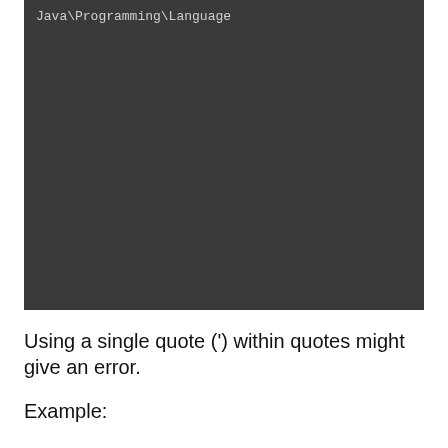[Figure (screenshot): Dark terminal/IDE screenshot showing path text 'Java\Programming\Language' in monospace white/light text on dark gray background]
Using a single quote (') within quotes might give an error.
Example: